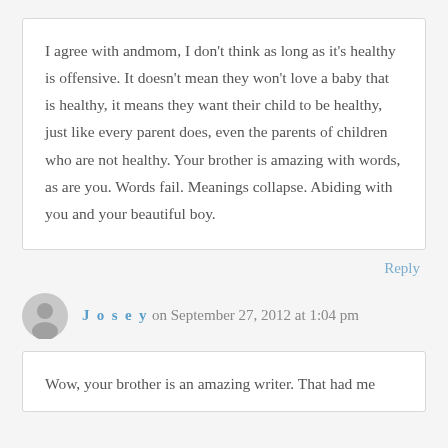I agree with andmom, I don't think as long as it's healthy is offensive. It doesn't mean they won't love a baby that is healthy, it means they want their child to be healthy, just like every parent does, even the parents of children who are not healthy. Your brother is amazing with words, as are you. Words fail. Meanings collapse. Abiding with you and your beautiful boy.
Reply
Josey on September 27, 2012 at 1:04 pm
Wow, your brother is an amazing writer. That had me